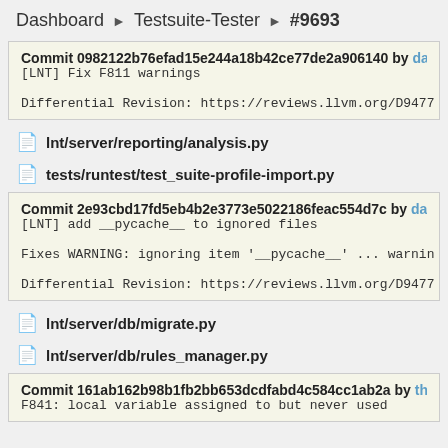Dashboard ▶ Testsuite-Tester ▶ #9693
Commit 0982122b76efad15e244a18b42ce77de2a906140 by danil
[LNT] Fix F811 warnings

Differential Revision: https://reviews.llvm.org/D9477
lnt/server/reporting/analysis.py
tests/runtest/test_suite-profile-import.py
Commit 2e93cbd17fd5eb4b2e3773e5022186feac554d7c by danib
[LNT] add __pycache__ to ignored files

Fixes WARNING: ignoring item '__pycache__' ... warnin

Differential Revision: https://reviews.llvm.org/D9477
lnt/server/db/migrate.py
lnt/server/db/rules_manager.py
Commit 161ab162b98b1fb2bb653dcdfabd4c584cc1ab2a by thom
F841: local variable assigned to but never used